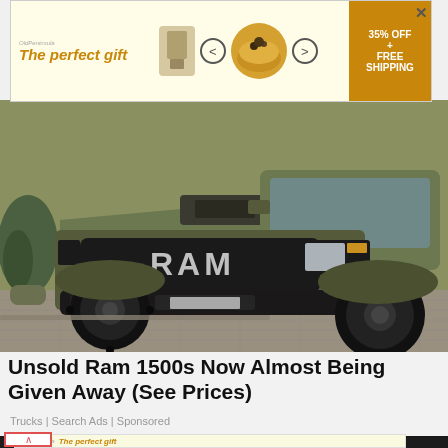[Figure (infographic): Banner advertisement: 'The perfect gift' with cookware imagery, 35% OFF + FREE SHIPPING offer, close button]
[Figure (photo): Matte green/olive Ram 1500 TRX pickup truck photographed from the front-left, showing the RAM grille, aggressive front bumper, large off-road tires, and black wheels, parked on a patterned surface with vegetation in the background]
Unsold Ram 1500s Now Almost Being Given Away (See Prices)
Trucks | Search Ads | Sponsored
[Figure (photo): Partially visible image below, dark background showing what appears to be a covered/wrapped object]
[Figure (infographic): Second repeat banner advertisement: 'The perfect gift' with cookware imagery, 35% OFF + FREE SHIPPING, with chat button overlay and close X button]